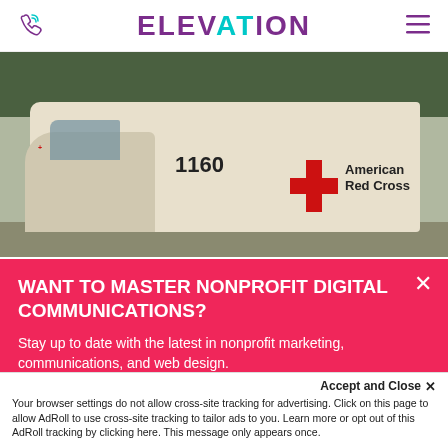ELEVATION
[Figure (photo): American Red Cross vehicle #1160 parked outdoors with trees in background]
WANT TO MASTER NONPROFIT DIGITAL COMMUNICATIONS?
Stay up to date with the latest in nonprofit marketing, communications, and web design.
Accept and Close ✕ Your browser settings do not allow cross-site tracking for advertising. Click on this page to allow AdRoll to use cross-site tracking to tailor ads to you. Learn more or opt out of this AdRoll tracking by clicking here. This message only appears once.